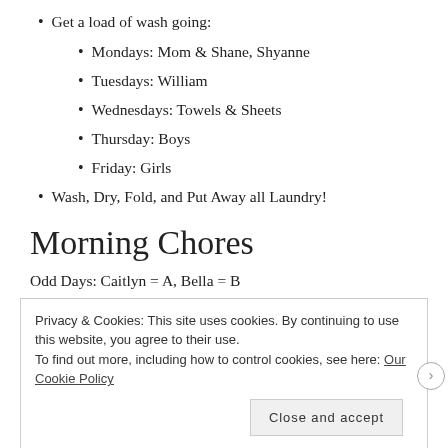Get a load of wash going:
Mondays: Mom & Shane, Shyanne
Tuesdays: William
Wednesdays: Towels & Sheets
Thursday: Boys
Friday: Girls
Wash, Dry, Fold, and Put Away all Laundry!
Morning Chores
Odd Days: Caitlyn = A, Bella = B
Privacy & Cookies: This site uses cookies. By continuing to use this website, you agree to their use.
To find out more, including how to control cookies, see here: Our Cookie Policy
Close and accept